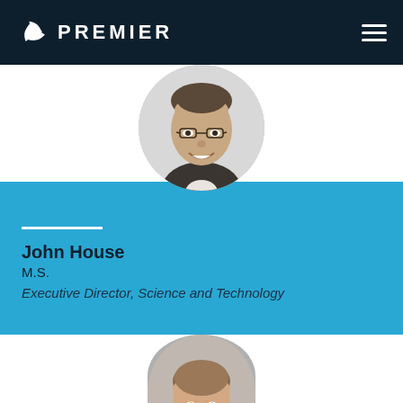PREMIER
[Figure (photo): Circular headshot photo of John House, a man wearing glasses and a dark vest, smiling, against a white background.]
John House
M.S.
Executive Director, Science and Technology
[Figure (photo): Circular headshot photo of a second person (woman with short brown hair), partially visible, cropped at bottom of page.]